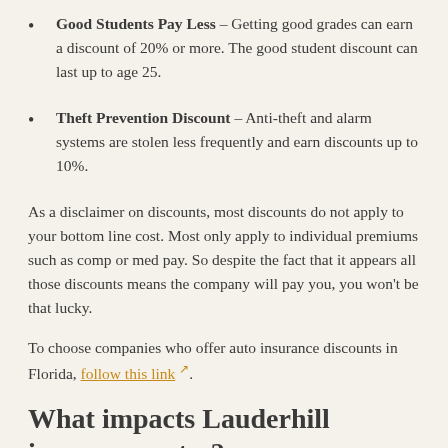Good Students Pay Less – Getting good grades can earn a discount of 20% or more. The good student discount can last up to age 25.
Theft Prevention Discount – Anti-theft and alarm systems are stolen less frequently and earn discounts up to 10%.
As a disclaimer on discounts, most discounts do not apply to your bottom line cost. Most only apply to individual premiums such as comp or med pay. So despite the fact that it appears all those discounts means the company will pay you, you won't be that lucky.
To choose companies who offer auto insurance discounts in Florida, follow this link.
What impacts Lauderhill insurance rates?
Smart consumers have a good feel for the different types of things that come into play when calculating the rates you pay for auto insurance. Understanding what impacts premium